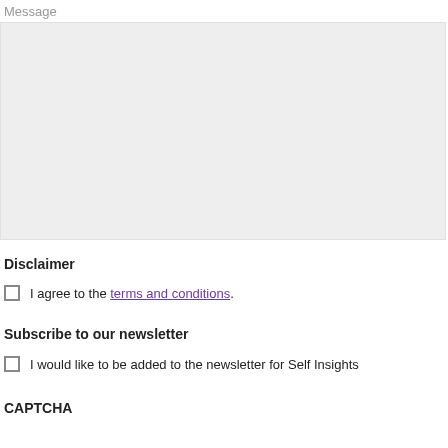Message
[Figure (other): Empty gray textarea input field for message]
Disclaimer
I agree to the terms and conditions.
Subscribe to our newsletter
I would like to be added to the newsletter for Self Insights
CAPTCHA